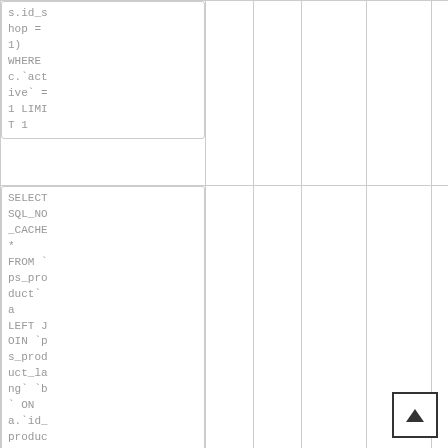| SQL Query |  |  |  |  |  |
| --- | --- | --- | --- | --- | --- |
| s.id_shop = 1)
WHERE c.`active` = 1 LIMIT 1 |  |  |  |  |  |
| SELECT SQL_NO_CACHE *
FROM `ps_product` a
LEFT JOIN `ps_product_lang` `b`
 ON a.`id_produc |  |  |  |  |  |